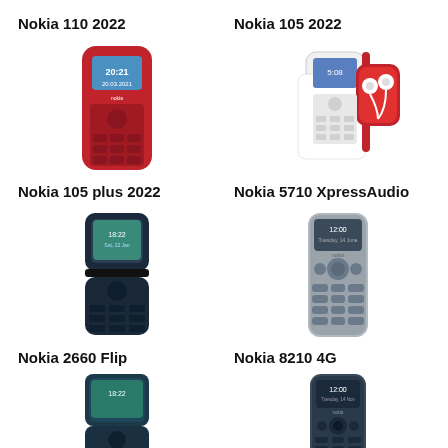Nokia 110 2022
[Figure (photo): Nokia 110 2022 red feature phone]
Nokia 105 2022
[Figure (photo): Nokia 105 2022 phone with earbuds]
Nokia 105 plus 2022
[Figure (photo): Nokia 105 plus 2022 dark flip phone]
Nokia 5710 XpressAudio
[Figure (photo): Nokia 5710 XpressAudio classic style phone]
Nokia 2660 Flip
[Figure (photo): Nokia 2660 Flip phone partially open]
Nokia 8210 4G
[Figure (photo): Nokia 8210 4G classic bar phone]
[Figure (photo): Nokia tablet/phone bottom left]
[Figure (photo): Nokia smartphone bottom right]